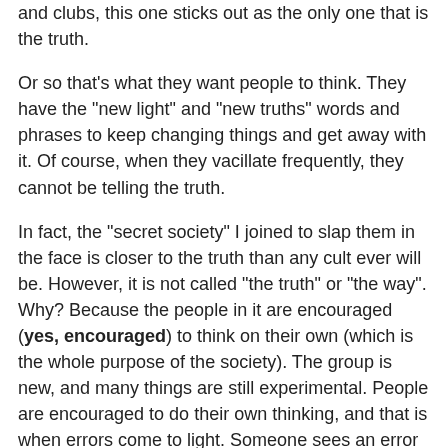and clubs, this one sticks out as the only one that is the truth.
Or so that's what they want people to think. They have the "new light" and "new truths" words and phrases to keep changing things and get away with it. Of course, when they vacillate frequently, they cannot be telling the truth.
In fact, the "secret society" I joined to slap them in the face is closer to the truth than any cult ever will be. However, it is not called "the truth" or "the way". Why? Because the people in it are encouraged (yes, encouraged) to think on their own (which is the whole purpose of the society). The group is new, and many things are still experimental. People are encouraged to do their own thinking, and that is when errors come to light. Someone sees an error (which there are going to be), and they put it up on a public forum. Others see it differently, and they